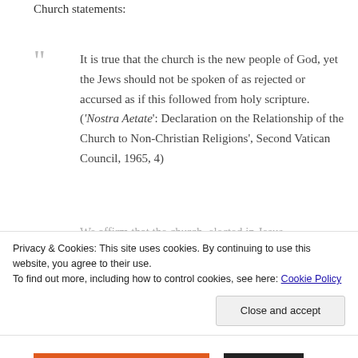Church statements:
It is true that the church is the new people of God, yet the Jews should not be spoken of as rejected or accursed as if this followed from holy scripture. ('Nostra Aetate': Declaration on the Relationship of the Church to Non-Christian Religions', Second Vatican Council, 1965, 4)
We affirm that the church, elected in Jesus
Privacy & Cookies: This site uses cookies. By continuing to use this website, you agree to their use. To find out more, including how to control cookies, see here: Cookie Policy
Close and accept